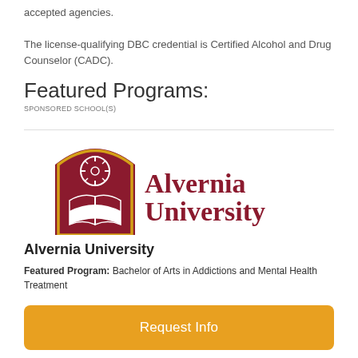accepted agencies.
The license-qualifying DBC credential is Certified Alcohol and Drug Counselor (CADC).
Featured Programs:
SPONSORED SCHOOL(S)
[Figure (logo): Alvernia University logo with maroon arch and compass/book emblem and maroon text]
Alvernia University
Featured Program: Bachelor of Arts in Addictions and Mental Health Treatment
Request Info